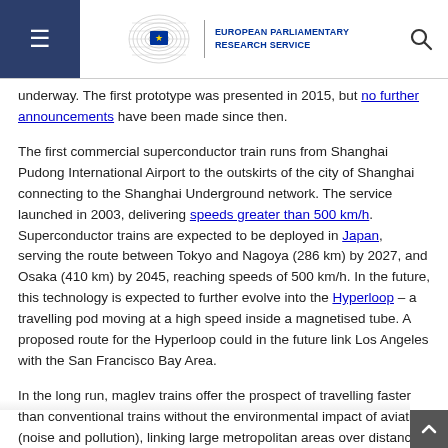European Parliamentary Research Service
underway. The first prototype was presented in 2015, but no further announcements have been made since then.
The first commercial superconductor train runs from Shanghai Pudong International Airport to the outskirts of the city of Shanghai connecting to the Shanghai Underground network. The service launched in 2003, delivering speeds greater than 500 km/h. Superconductor trains are expected to be deployed in Japan, serving the route between Tokyo and Nagoya (286 km) by 2027, and Osaka (410 km) by 2045, reaching speeds of 500 km/h. In the future, this technology is expected to further evolve into the Hyperloop – a travelling pod moving at a high speed inside a magnetised tube. A proposed route for the Hyperloop could in the future link Los Angeles with the San Francisco Bay Area.
In the long run, maglev trains offer the prospect of travelling faster than conventional trains without the environmental impact of aviation (noise and pollution), linking large metropolitan areas over distances of several hundreds of kilometres.